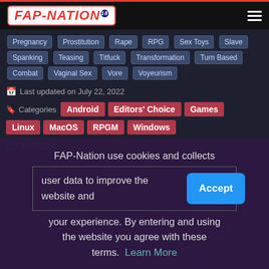[Figure (logo): FAP-NATION 18+ logo in red on white background with red border]
Pregnancy
Prostitution
Rape
RPG
Sex Toys
Slave
Spanking
Teasing
Titfuck
Transformation
Turn Based
Combat
Vaginal Sex
Vore
Voyeurism
Last updated on July 22, 2022
Categories  Android  Editors' Choice  Games  Linux  MacOS  RPGM  Windows
1258045
FAP-Nation use cookies and collects user data to improve the website and your experience. By entering and using the website you agree with these terms. Learn More